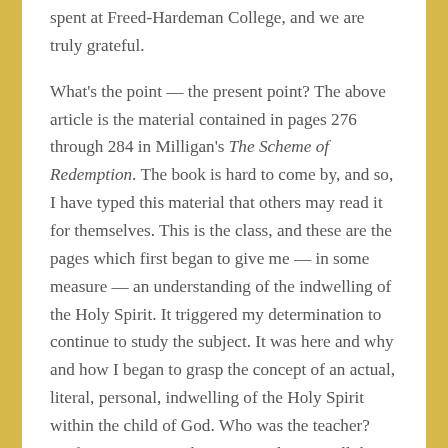spent at Freed-Hardeman College, and we are truly grateful.
What's the point — the present point? The above article is the material contained in pages 276 through 284 in Milligan's The Scheme of Redemption. The book is hard to come by, and so, I have typed this material that others may read it for themselves. This is the class, and these are the pages which first began to give me — in some measure — an understanding of the indwelling of the Holy Spirit. It triggered my determination to continue to study the subject. It was here and why and how I began to grasp the concept of an actual, literal, personal, indwelling of the Holy Spirit within the child of God. Who was the teacher? Professor N. B. Hardeman! I am here to tell the reader that in NO WAY did brother Hardeman ever try to "explain away" what Milligan had written. If